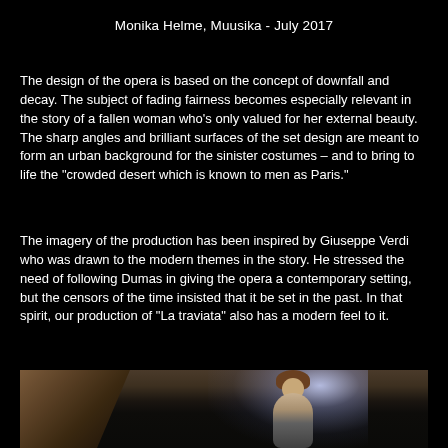Monika Helme, Muusika - July 2017
The design of the opera is based on the concept of downfall and decay. The subject of fading fairness becomes especially relevant in the story of a fallen woman who’s only valued for her external beauty. The sharp angles and brilliant surfaces of the set design are meant to form an urban background for the sinister costumes – and to bring to life the “crowded desert which is known to men as Paris.”
The imagery of the production has been inspired by Giuseppe Verdi who was drawn to the modern themes in the story. He stressed the need of following Dumas in giving the opera a contemporary setting, but the censors of the time insisted that it be set in the past. In that spirit, our production of "La traviata" also has a modern feel to it.
[Figure (photo): Stage performance photo showing a female performer in a silver/gray dress standing on stage under dramatic spotlight lighting, with dark curtain or drape visible on the left side. The scene is dark and atmospheric.]